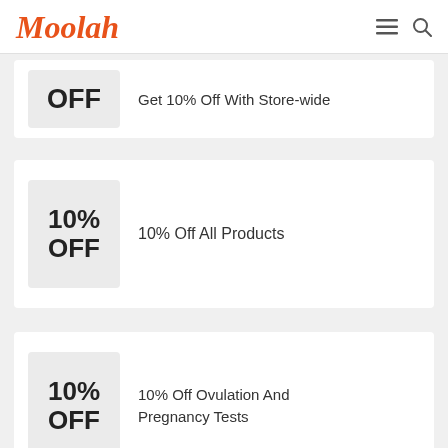Moolah
Get 10% Off With Store-wide
OFF
10% Off All Products
10% OFF
10% Off Ovulation And Pregnancy Tests
10% OFF